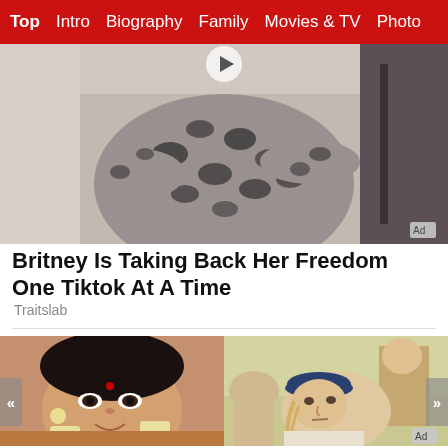Top  Intro  Biography  Family  Movies & TV  Photo
[Figure (photo): Woman in leopard print outfit, upper body photo used as ad/article thumbnail]
Britney Is Taking Back Her Freedom One Tiktok At A Time
Traitslab
[Figure (photo): Shikha Nair, Indian actress wearing traditional jewelry and floral garland, smiling portrait photo]
Shikha Nair: Movies, Age, Photos, Family, Husband, Height, Birthday, Biogr...
[Figure (photo): Owen Wilson wearing a dark beret with another person, movie still photo, marked as Ad]
How Owen Wilson Became More Successful Than His Brother
Brainberries